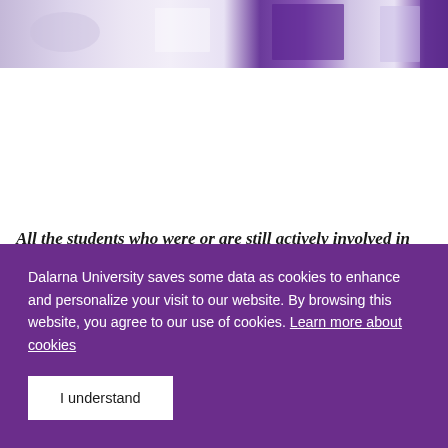[Figure (photo): Horizontal photo strip showing students in a university setting with purple branding elements]
All the students who were or are still actively involved in one of the Eximus projects.
Dalarna University saves some data as cookies to enhance and personalize your visit to our website. By browsing this website, you agree to our use of cookies. Learn more about cookies
I understand